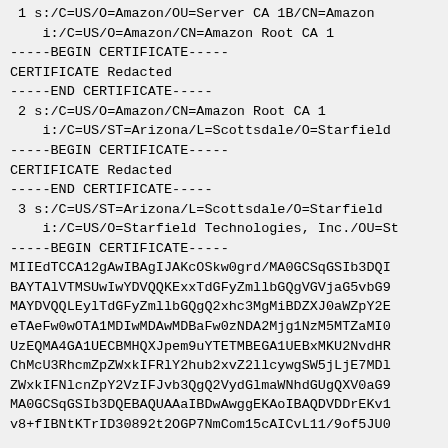1 s:/C=US/O=Amazon/OU=Server CA 1B/CN=Amazon
    i:/C=US/O=Amazon/CN=Amazon Root CA 1
-----BEGIN CERTIFICATE-----
CERTIFICATE Redacted
-----END CERTIFICATE-----
 2 s:/C=US/O=Amazon/CN=Amazon Root CA 1
    i:/C=US/ST=Arizona/L=Scottsdale/O=Starfield
-----BEGIN CERTIFICATE-----
CERTIFICATE Redacted
-----END CERTIFICATE-----
 3 s:/C=US/ST=Arizona/L=Scottsdale/O=Starfield
    i:/C=US/O=Starfield Technologies, Inc./OU=St
-----BEGIN CERTIFICATE-----
MIIEdTCCA12gAwIBAgIJAKcOSkw0grd/MA0GCSqGSIb3DQI
BAYTAlVTMSUwIwYDVQQKExxTdGFyZmllbGQgVGVjaG5vbG9
MAYDVQQLEylTdGFyZmllbGQgQ2xhc3MgMiBDZXJ0aWZpY2F
eTAeFw0wOTA5MDIwMDAwMDBaFw0zNDA2Mjg1NzM5MTZaMI0
UzEQMA4GA1UECBMHQXJpem9uYTETMBEGA1UEBxMKU2NvdHR
ChMcU3RhcmZpZWxkIFRlY2hub2xvZ2llcywgSW5jLjE7MDl
ZWxkIFNlcnZpY2VzIFJvb3QgQ2VydGlmaWNhdGUgQXV0aG9
MA0GCSqGSIb3DQEBAQUAAaIBDwAwggEKAoIBAQDVDDrEKv1
v8+fIBNtKTrID30892t2OGP7NmCom15cAICvL11/9of5JU0